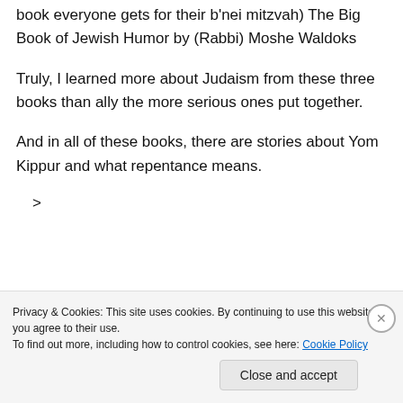book everyone gets for their b'nei mitzvah) The Big Book of Jewish Humor by (Rabbi) Moshe Waldoks
Truly, I learned more about Judaism from these three books than ally the more serious ones put together.
And in all of these books, there are stories about Yom Kippur and what repentance means.
>
Privacy & Cookies: This site uses cookies. By continuing to use this website, you agree to their use.
To find out more, including how to control cookies, see here: Cookie Policy
Close and accept